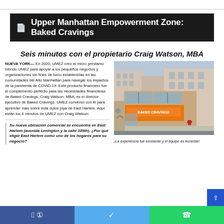Upper Manhattan Empowerment Zone: Baked Cravings
Seis minutos con el propietario Craig Watson, MBA
NUEVA YORK— En 2020, UMEZ creó el micro préstamo híbrido UMEZ para apoyar a los pequeños negocios y organizaciones sin fines de lucro establecidas en las comunidades del Alto Manhattan para navegar los impactos de la pandemia de COVID-19. Este producto financiero fue el complemento perfecto para las necesidades financieras de Baked Cravings. Craig Watson, MBA, es el director ejecutivo de Baked Cravings. UMEZ conversó con él para aprender más sobre esta dulce joya de East Harlem. Aquí están los 6 minutos de UMEZ con Craig Watson:
[Figure (photo): Exterior photo of a corner building with orange storefront sign for Baked Cravings in East Harlem, New York]
¡La experiencia fue excelente y el equipo es increíble!
Su nueva ubicación comercial se encuentra en East Harlem (avenida Lexington y la calle 105th). ¿Por qué eligió East Harlem como uno de los hogares para su negocio?